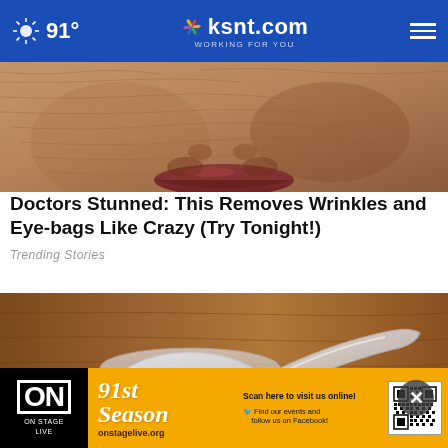91° | ksnt.com WORKING FOR YOU
[Figure (photo): Close-up photo of an elderly person's wrinkled face showing nose, lips, and cheeks]
Doctors Stunned: This Removes Wrinkles and Eye-bags Like Crazy (Try Tonight!)
Trending Stories
[Figure (photo): Photo of a plastic measuring scoop filled with white powder on a wooden surface]
[Figure (screenshot): On Stage Live advertisement banner - 91st Season - onstagelive.org - Scan here to visit us online! Find our events and follow us on Facebook!]